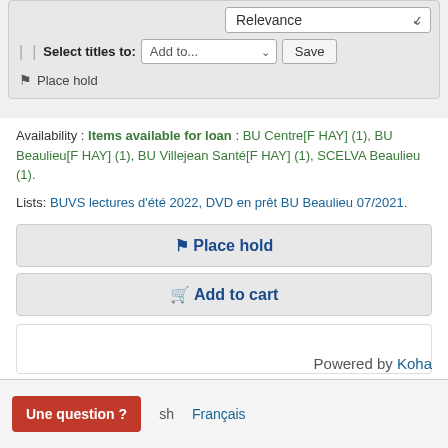[Figure (screenshot): Library catalog UI toolbar with Relevance dropdown, Select titles to: Add to... dropdown, Save button, and Place hold link]
Availability : Items available for loan : BU Centre[F HAY] (1), BU Beaulieu[F HAY] (1), BU Villejean Santé[F HAY] (1), SCELVA Beaulieu (1).
Lists: BUVS lectures d'été 2022, DVD en prêt BU Beaulieu 07/2021.
Place hold
Add to cart
Powered by Koha
Une question ?
sh   Français